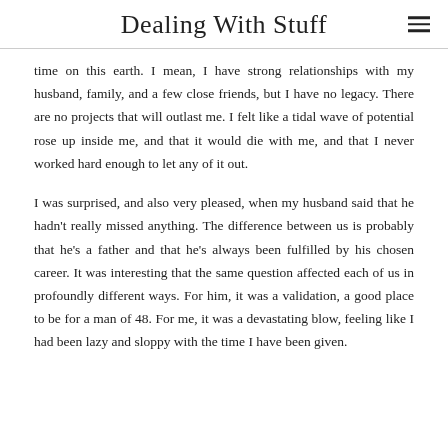Dealing With Stuff
time on this earth. I mean, I have strong relationships with my husband, family, and a few close friends, but I have no legacy. There are no projects that will outlast me. I felt like a tidal wave of potential rose up inside me, and that it would die with me, and that I never worked hard enough to let any of it out.
I was surprised, and also very pleased, when my husband said that he hadn't really missed anything. The difference between us is probably that he's a father and that he's always been fulfilled by his chosen career. It was interesting that the same question affected each of us in profoundly different ways. For him, it was a validation, a good place to be for a man of 48. For me, it was a devastating blow, feeling like I had been lazy and sloppy with the time I have been given.